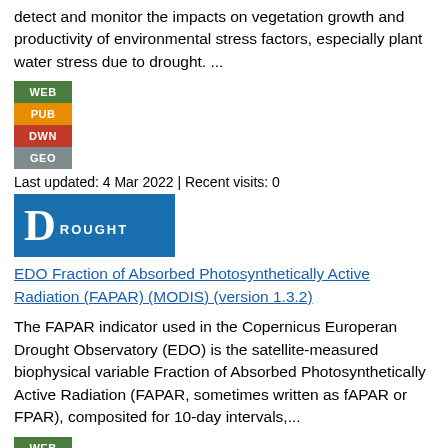…Copernicus European Drought Observatory (EDO) is used to detect and monitor the impacts on vegetation growth and productivity of environmental stress factors, especially plant water stress due to drought. ...
[Figure (infographic): Stacked colored badges: WEB (green), PUB (orange), DWN (red), GEO (grey)]
Last updated: 4 Mar 2022 | Recent visits: 0
[Figure (infographic): Blue banner with large D letter followed by ROUGHT text, spelling DROUGHT]
EDO Fraction of Absorbed Photosynthetically Active Radiation (FAPAR) (MODIS) (version 1.3.2)
The FAPAR indicator used in the Copernicus Europeran Drought Observatory (EDO) is the satellite-measured biophysical variable Fraction of Absorbed Photosynthetically Active Radiation (FAPAR, sometimes written as fAPAR or FPAR), composited for 10-day intervals,...
[Figure (infographic): Stacked colored badges: WEB (green), PUB (orange), DWN (red), GEO (grey) — partially visible]